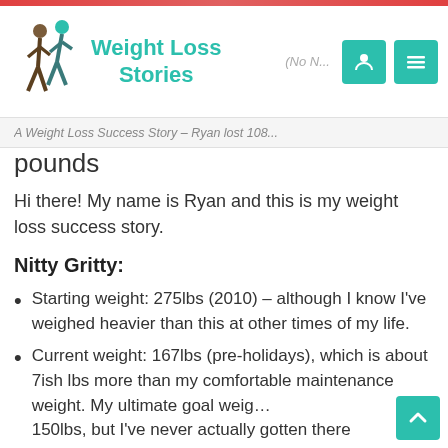Weight Loss Stories
pounds
Hi there! My name is Ryan and this is my weight loss success story.
Nitty Gritty:
Starting weight: 275lbs (2010) – although I know I've weighed heavier than this at other times of my life.
Current weight: 167lbs (pre-holidays), which is about 7ish lbs more than my comfortable maintenance weight. My ultimate goal weig… 150lbs, but I've never actually gotten there